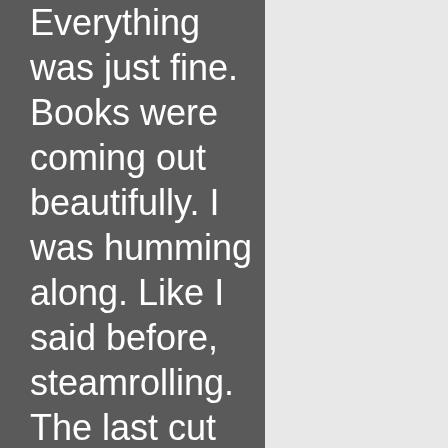Everything was just fine. Books were coming out beautifully. I was humming along. Like I said before, steamrolling. The last cut was the outer edges. 5 inches from the spine of